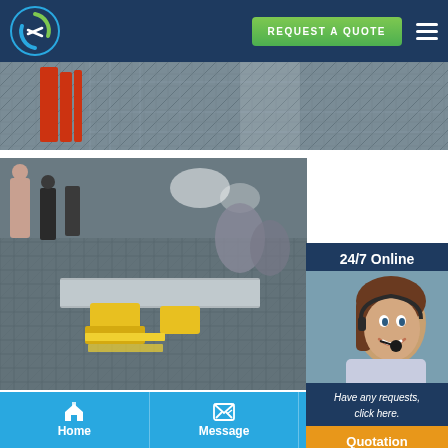[Figure (screenshot): Website header with company logo (circular green/blue icon), REQUEST A QUOTE green button, and hamburger menu on dark navy background]
[Figure (photo): Industrial conveyor/production line facility photo showing metal grating floor with orange/red equipment in background]
[Figure (photo): Industrial manufacturing facility with workers, conveyor belt, yellow equipment, metal grating floor]
[Figure (infographic): 24/7 Online sidebar with customer service representative (woman with headset), 'Have any requests, click here.' text, and Quotation button]
[Figure (photo): Partial photo of industrial floor/machinery at bottom]
[Figure (screenshot): Bottom navigation bar with Home, Message, E-mail icons on blue background]